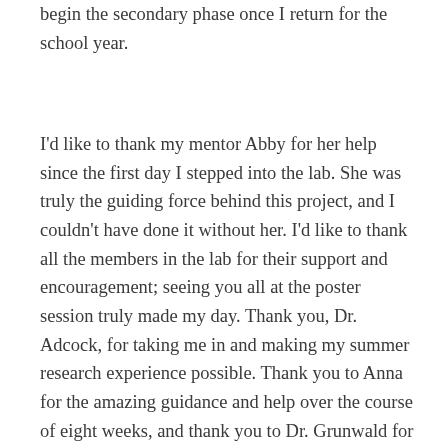begin the secondary phase once I return for the school year.
I'd like to thank my mentor Abby for her help since the first day I stepped into the lab. She was truly the guiding force behind this project, and I couldn't have done it without her. I'd like to thank all the members in the lab for their support and encouragement; seeing you all at the poster session truly made my day. Thank you, Dr. Adcock, for taking me in and making my summer research experience possible. Thank you to Anna for the amazing guidance and help over the course of eight weeks, and thank you to Dr. Grunwald for letting us play with/handle your snakes (and of course, being an incredible leader and program director). As I continue to explore new challenges and discoveries, successes and failures, I'll